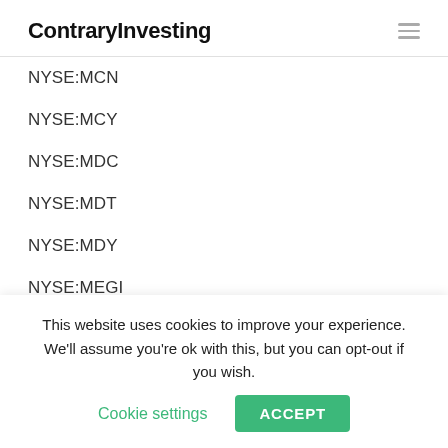ContraryInvesting
NYSE:MCN
NYSE:MCY
NYSE:MDC
NYSE:MDT
NYSE:MDY
NYSE:MEGI
NYSE:MEN
NYSE:MET
NYSE:MFA
This website uses cookies to improve your experience. We'll assume you're ok with this, but you can opt-out if you wish. Cookie settings ACCEPT